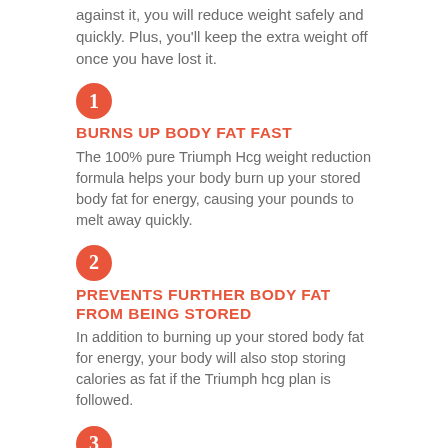against it, you will reduce weight safely and quickly. Plus, you'll keep the extra weight off once you have lost it.
1 BURNS UP BODY FAT FAST
The 100% pure Triumph Hcg weight reduction formula helps your body burn up your stored body fat for energy, causing your pounds to melt away quickly.
2 PREVENTS FURTHER BODY FAT FROM BEING STORED
In addition to burning up your stored body fat for energy, your body will also stop storing calories as fat if the Triumph hcg plan is followed.
3 APPETITE SUPPRESSION
Intense food cravings are the number one reason most weight reduction diets fail. Triumph hcg drops have special appetite suppressants that help you keep to your diet and be successful in your weight reduction.
[Figure (other): Partial orange circle with number 4, cut off at bottom of page]